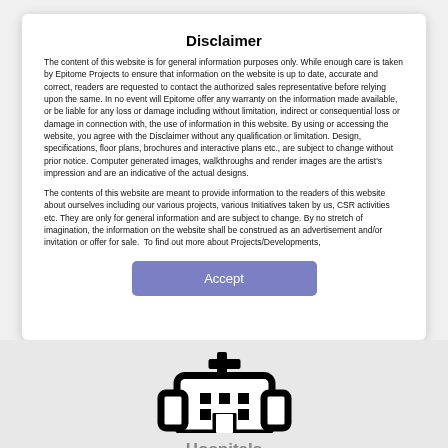Disclaimer
The content of this website is for general information purposes only. While enough care is taken by Epitome Projects to ensure that information on the website is up to date, accurate and correct, readers are requested to contact the authorized sales representative before relying upon the same. In no event will Epitome offer any warranty on the information made available, or be liable for any loss or damage including without limitation, indirect or consequential loss or damage in connection with, the use of information in this website. By using or accessing the website, you agree with the Disclaimer without any qualification or limitation. Design, specifications, floor plans, brochures and interactive plans etc., are subject to change without prior notice. Computer generated images, walkthroughs and render images are the artist's impression and are an indicative of the actual designs.
The contents of this website are meant to provide information to the readers of this website about ourselves including our various projects, various Initiatives taken by us, CSR activities etc. They are only for general information and are subject to change. By no stretch of imagination, the information on the website shall be construed as an advertisement and/or invitation or offer for sale.  To find out more about Projects/Developments,
[Figure (illustration): Hospital building icon — black outline of a multi-story building with a medical cross on top, windows represented as black squares, and an entrance at the bottom]
Hospitals